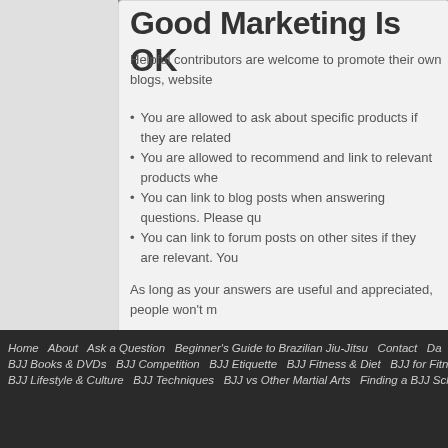Good Marketing Is OK
Helpful contributors are welcome to promote their own blogs, website
You are allowed to ask about specific products if they are related
You are allowed to recommend and link to relevant products whe
You can link to blog posts when answering questions. Please qu
You can link to forum posts on other sites if they are relevant. You
As long as your answers are useful and appreciated, people won't m
Spammers, trolls, and flamers
Home   About   Ask a Question   Beginner's Guide to Brazilian Jiu-Jitsu   Contact   Da
BJJ Books & DVDs   BJJ Competition   BJJ Etiquette   BJJ Fitness & Diet   BJJ for Fitne
BJJ Lifestyle & Culture   BJJ Techniques   BJJ vs Other Martial Arts   Finding a BJJ Scho